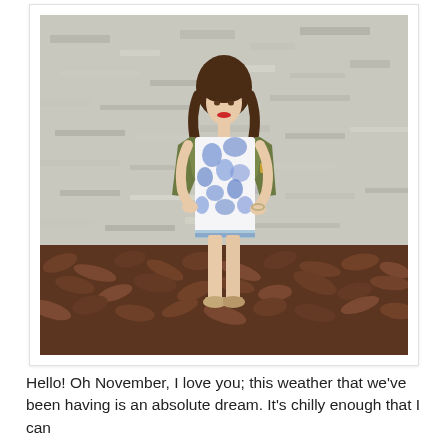[Figure (photo): A young woman with long brown wavy hair and red lipstick stands against a rough concrete wall. She wears a white and blue floral dress and a green military-style open jacket. She is standing on brown fallen leaves. She wears tan wedge shoes.]
Hello! Oh November, I love you; this weather that we've been having is an absolute dream. It's chilly enough that I can